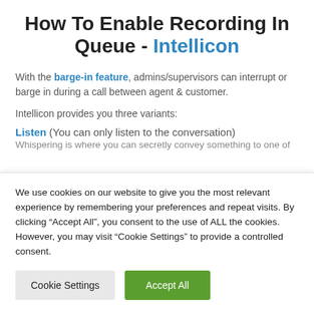How To Enable Recording In Queue - Intellicon
With the barge-in feature, admins/supervisors can interrupt or barge in during a call between agent & customer.
Intellicon provides you three variants:
Listen (You can only listen to the conversation)
We use cookies on our website to give you the most relevant experience by remembering your preferences and repeat visits. By clicking “Accept All”, you consent to the use of ALL the cookies. However, you may visit “Cookie Settings” to provide a controlled consent.